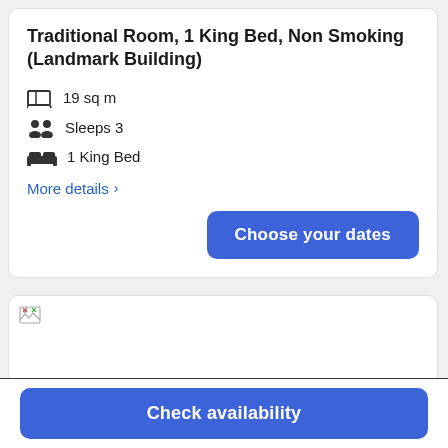Traditional Room, 1 King Bed, Non Smoking (Landmark Building)
19 sq m
Sleeps 3
1 King Bed
More details >
Choose your dates
[Figure (photo): Hotel room photo (broken/unloaded image) with left and right navigation arrows]
Check availability